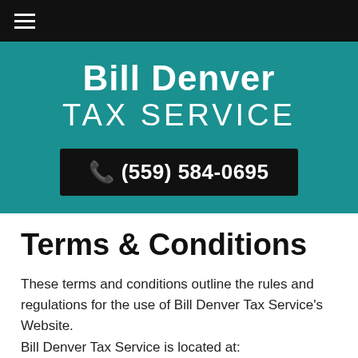≡
Bill Denver TAX SERVICE
📞 (559) 584-0695
Terms & Conditions
These terms and conditions outline the rules and regulations for the use of Bill Denver Tax Service's Website.
Bill Denver Tax Service is located at:
353 Santa Fe Avenue